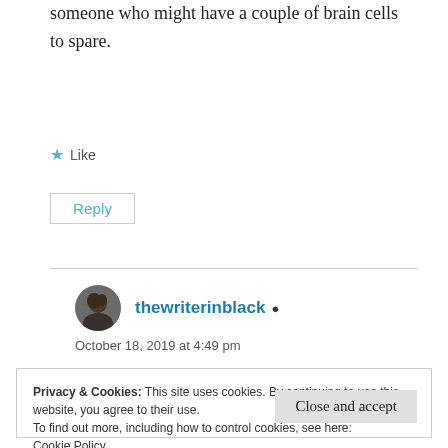someone who might have a couple of brain cells to spare.
Like
Reply
thewriterinblack
October 18, 2019 at 4:49 pm
Privacy & Cookies: This site uses cookies. By continuing to use this website, you agree to their use.
To find out more, including how to control cookies, see here:
Cookie Policy
Close and accept